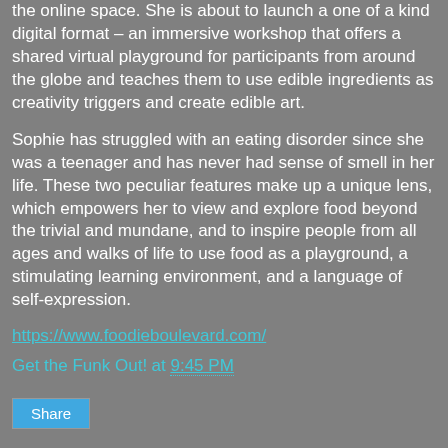the online space. She is about to launch a one of a kind digital format – an immersive workshop that offers a shared virtual playground for participants from around the globe and teaches them to use edible ingredients as creativity triggers and create edible art.
Sophie has struggled with an eating disorder since she was a teenager and has never had sense of smell in her life. These two peculiar features make up a unique lens, which empowers her to view and explore food beyond the trivial and mundane, and to inspire people from all ages and walks of life to use food as a playground, a stimulating learning environment, and a language of self-expression.
https://www.foodieboulevard.com/
Get the Funk Out! at 9:45 PM
Share
Coming up June 8, 2020 at 9:40am pst - Janeane speaks with Joyce Marie